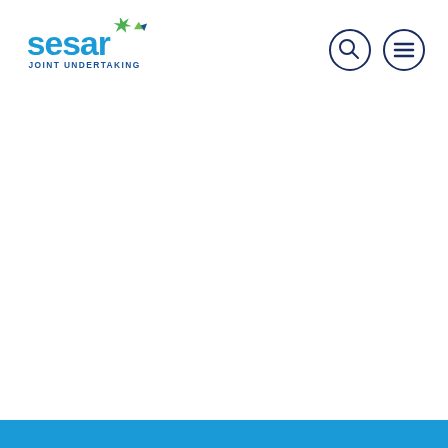[Figure (logo): SESAR Joint Undertaking logo with blue text 'sesar' and green/blue star graphic, subtitle 'JOINT UNDERTAKING']
[Figure (other): Navigation icons: magnifying glass (search) and hamburger menu, both in dark navy circle outlines]
[Figure (other): Solid light blue horizontal bar at the bottom of the page]